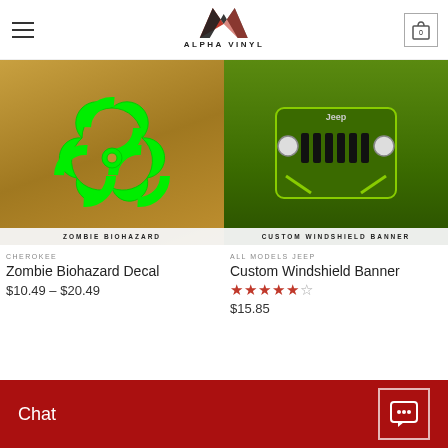Alpha Vinyl — navigation header with logo and cart
[Figure (photo): Zombie Biohazard Decal product image — green biohazard symbol on orange/gold background]
ZOMBIE BIOHAZARD
CHEROKEE
Zombie Biohazard Decal
$10.49 – $20.49
[Figure (photo): Custom Windshield Banner product image — lime green Jeep front view]
CUSTOM WINDSHIELD BANNER
ALL MODELS JEEP
Custom Windshield Banner
$15.85
[Figure (photo): U.S.A. military star decal product image — black on white/grey background]
[Figure (photo): Second product bottom row — grey/silver background]
Chat